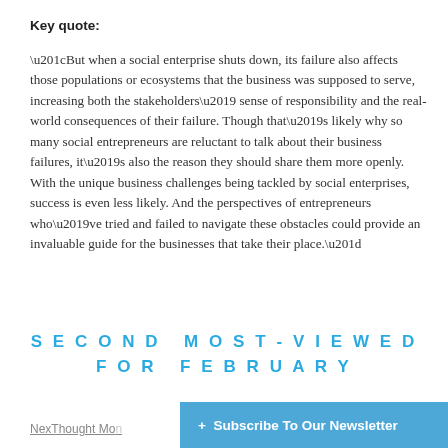Key quote:
“But when a social enterprise shuts down, its failure also affects those populations or ecosystems that the business was supposed to serve, increasing both the stakeholders’ sense of responsibility and the real-world consequences of their failure. Though that’s likely why so many social entrepreneurs are reluctant to talk about their business failures, it’s also the reason they should share them more openly. With the unique business challenges being tackled by social enterprises, success is even less likely. And the perspectives of entrepreneurs who’ve tried and failed to navigate these obstacles could provide an invaluable guide for the businesses that take their place.”
SECOND MOST-VIEWED FOR FEBRUARY
+ Subscribe To Our Newsletter